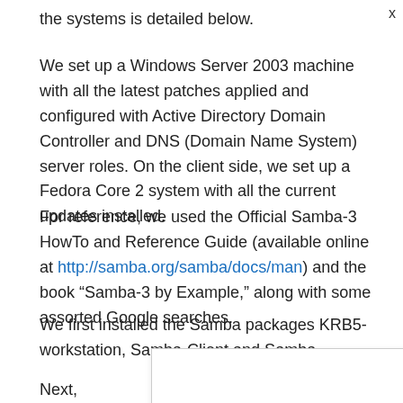the systems is detailed below.
We set up a Windows Server 2003 machine with all the latest patches applied and configured with Active Directory Domain Controller and DNS (Domain Name System) server roles. On the client side, we set up a Fedora Core 2 system with all the current updates installed.
For reference, we used the Official Samba-3 HowTo and Reference Guide (available online at http://samba.org/samba/docs/man) and the book “Samba-3 by Example,” along with some assorted Google searches.
We first installed the Samba packages KRB5-workstation, Samba-Client and Samba.
Next, we n